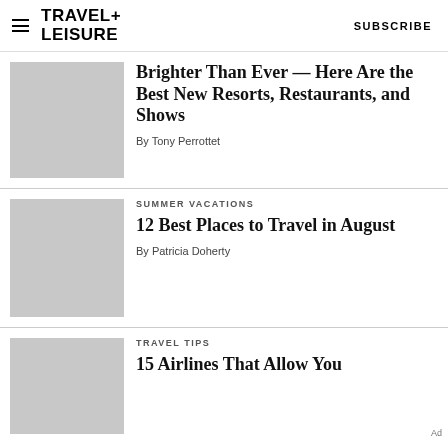TRAVEL+ LEISURE   SUBSCRIBE
[Figure (photo): Gray placeholder thumbnail for first article]
Brighter Than Ever — Here Are the Best New Resorts, Restaurants, and Shows
By Tony Perrottet
[Figure (photo): Gray placeholder thumbnail for second article]
SUMMER VACATIONS
12 Best Places to Travel in August
By Patricia Doherty
[Figure (photo): Gray placeholder thumbnail for third article]
TRAVEL TIPS
15 Airlines That Allow You to Book Flights Name and D…